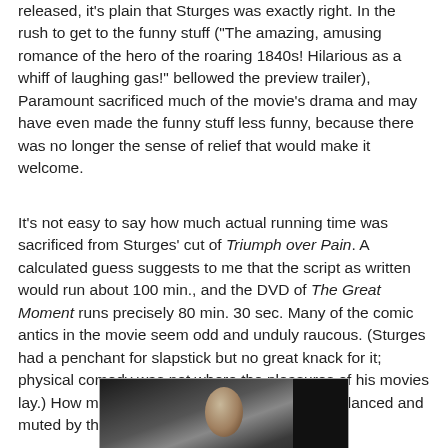released, it's plain that Sturges was exactly right. In the rush to get to the funny stuff ("The amazing, amusing romance of the hero of the roaring 1840s! Hilarious as a whiff of laughing gas!" bellowed the preview trailer), Paramount sacrificed much of the movie's drama and may have even made the funny stuff less funny, because there was no longer the sense of relief that would make it welcome.
It's not easy to say how much actual running time was sacrificed from Sturges' cut of Triumph over Pain. A calculated guess suggests to me that the script as written would run about 100 min., and the DVD of The Great Moment runs precisely 80 min. 30 sec. Many of the comic antics in the movie seem odd and unduly raucous. (Sturges had a penchant for slapstick but no great knack for it; physical comedy was not where the pleasures of his movies lay.) How much the comedy could have been balanced and muted by the missing footage, we'll never know.
[Figure (photo): Black and white photograph of a man's face, partially lit, with a dark background and a dark rectangular object to the right.]